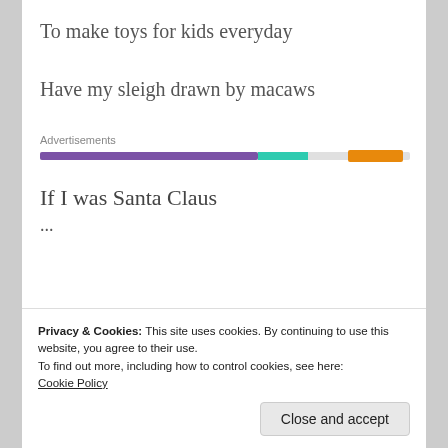To make toys for kids everyday
Have my sleigh drawn by macaws
[Figure (infographic): Advertisements loading bar with purple, teal, and orange segments on a light gray track]
If I was Santa Claus
...
Privacy & Cookies: This site uses cookies. By continuing to use this website, you agree to their use.
To find out more, including how to control cookies, see here:
Cookie Policy
Close and accept